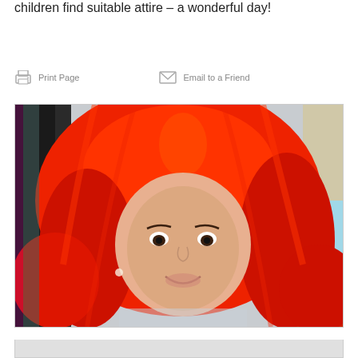children find suitable attire – a wonderful day!
Print Page    Email to a Friend
[Figure (photo): A young girl wearing a bright red curly wig, smiling at the camera, in a costume or dress-up context. Other colorful wigs visible in the background.]